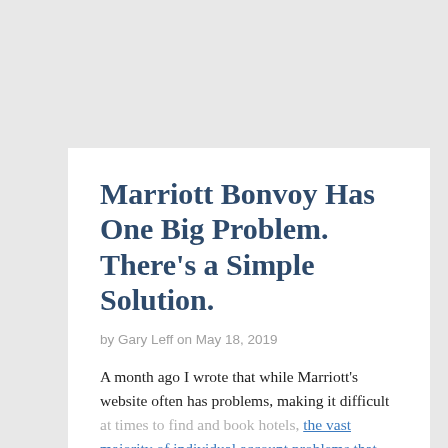Marriott Bonvoy Has One Big Problem. There's a Simple Solution.
by Gary Leff on May 18, 2019
A month ago I wrote that while Marriott's website often has problems, making it difficult at times to find and book hotels, the vast majority of individual account problems that